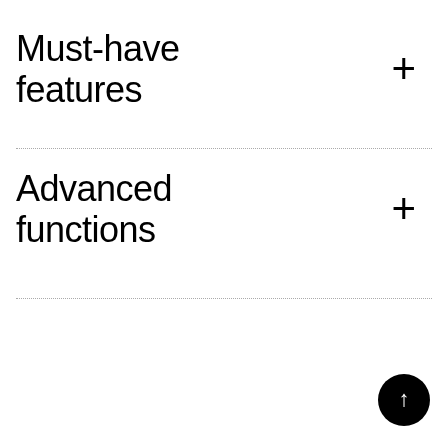Must-have features
Advanced functions
[Figure (other): Black circle button with upward arrow icon]